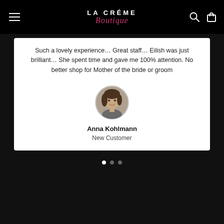LA CRÉME Boutique
Such a lovely experience... Great staff... Eilish was just brilliant... She spent time and gave me 100% attention. No better shop for Mother of the bride or groom
[Figure (photo): Circular portrait photo of Anna Kohlmann, a woman with short dark hair, smiling]
Anna Kohlmann
New Customer